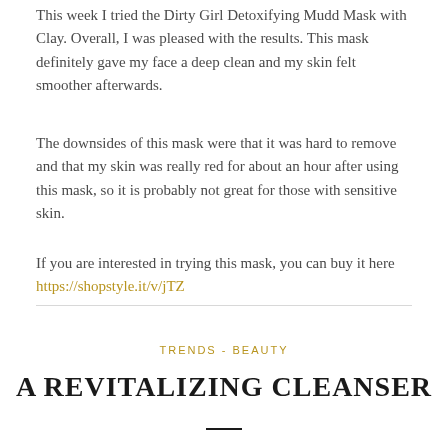This week I tried the Dirty Girl Detoxifying Mudd Mask with Clay. Overall, I was pleased with the results. This mask definitely gave my face a deep clean and my skin felt smoother afterwards.
The downsides of this mask were that it was hard to remove and that my skin was really red for about an hour after using this mask, so it is probably not great for those with sensitive skin.
If you are interested in trying this mask, you can buy it here https://shopstyle.it/v/jTZ
TRENDS - BEAUTY
A REVITALIZING CLEANSER